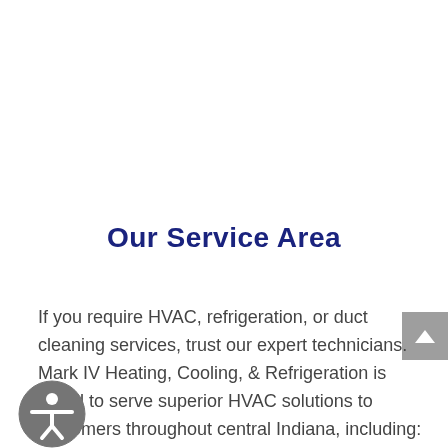Our Service Area
If you require HVAC, refrigeration, or duct cleaning services, trust our expert technicians. Mark IV Heating, Cooling, & Refrigeration is proud to serve superior HVAC solutions to customers throughout central Indiana, including: